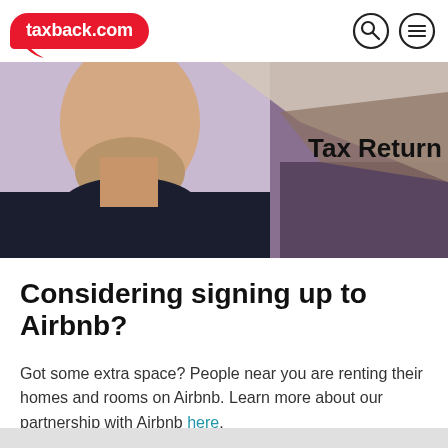taxback.com
[Figure (photo): Hero image showing a man from chin to chest wearing a dark shirt on the left, with a speech bubble or overlay shape on the right side containing bold text 'Tax Return' on a light purple/brown background]
Considering signing up to Airbnb?
Got some extra space? People near you are renting their homes and rooms on Airbnb. Learn more about our partnership with Airbnb here.